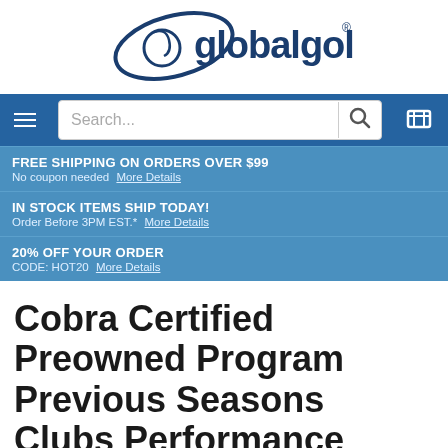[Figure (logo): globalgolf.com logo with golf ball and oval swoosh]
[Figure (screenshot): Navigation bar with hamburger menu, search box, and cart icon]
FREE SHIPPING ON ORDERS OVER $99
No coupon needed  More Details
IN STOCK ITEMS SHIP TODAY!
Order Before 3PM EST.*  More Details
20% OFF YOUR ORDER
CODE: HOT20  More Details
Cobra Certified Preowned Program Previous Seasons Clubs Performance Clubs
[Figure (logo): uPerks loyalty program logo with orange U circle and Join Now button]